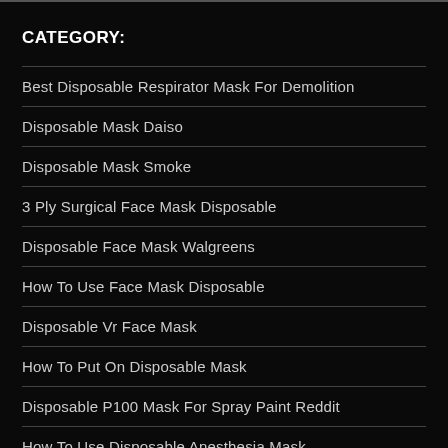CATEGORY:
Best Disposable Respirator Mask For Demolition
Disposable Mask Daiso
Disposable Mask Smoke
3 Ply Surgical Face Mask Disposable
Disposable Face Mask Walgreens
How To Use Face Mask Disposable
Disposable Vr Face Mask
How To Put On Disposable Mask
Disposable P100 Mask For Spray Paint Reddit
How To Use Disposable Anesthesia Mask